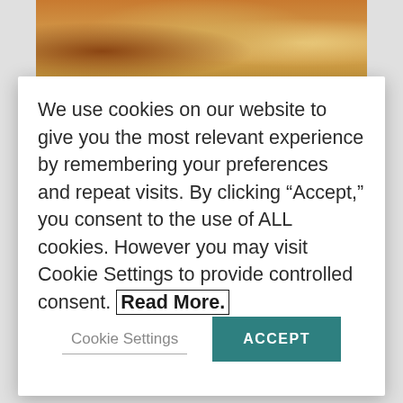[Figure (illustration): Colorful illustrated banner strip visible at the top of the page behind the cookie consent modal, depicting figures in a scene.]
We use cookies on our website to give you the most relevant experience by remembering your preferences and repeat visits. By clicking “Accept,” you consent to the use of ALL cookies. However you may visit Cookie Settings to provide controlled consent. Read More.
Cookie Settings
ACCEPT